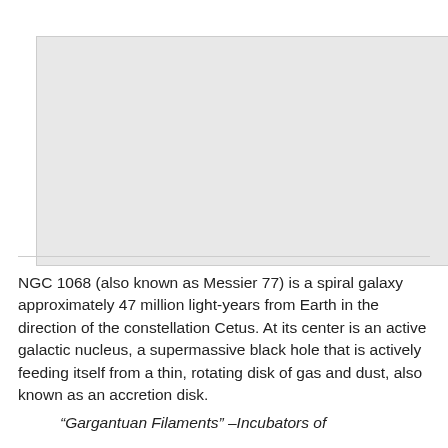[Figure (photo): Image placeholder — gray rectangle representing a photo of NGC 1068 / Messier 77 galaxy]
NGC 1068 (also known as Messier 77) is a spiral galaxy approximately 47 million light-years from Earth in the direction of the constellation Cetus. At its center is an active galactic nucleus, a supermassive black hole that is actively feeding itself from a thin, rotating disk of gas and dust, also known as an accretion disk.
“Gargantuan Filaments” –Incubators of